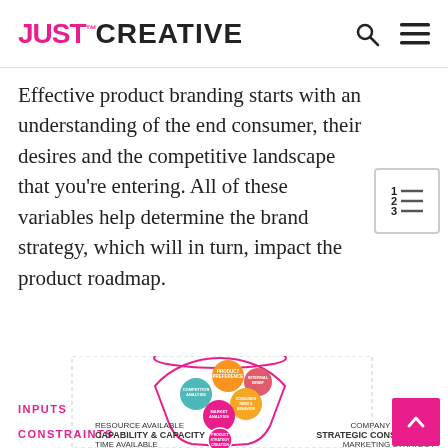JUST™ CREATIVE
Effective product branding starts with an understanding of the end consumer, their desires and the competitive landscape that you're entering. All of these variables help determine the brand strategy, which will in turn, impact the product roadmap.
[Figure (infographic): Funnel infographic showing brand strategy creation process with inputs (Product Preference, Internal Brief, Competitor Analysis, Consumer Need & Behavior, Market Analysis) flowing through a funnel into Product Strategy Creation, with Constraints shown at the bottom (Resource Available, Capability & Capacity, Time Available on left; Company Strategy, Strategic Constraints, Marketing Strategy on right).]